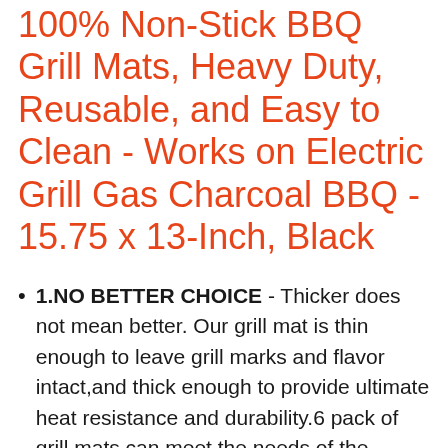100% Non-Stick BBQ Grill Mats, Heavy Duty, Reusable, and Easy to Clean - Works on Electric Grill Gas Charcoal BBQ - 15.75 x 13-Inch, Black
1.NO BETTER CHOICE - Thicker does not mean better. Our grill mat is thin enough to leave grill marks and flavor intact,and thick enough to provide ultimate heat resistance and durability.6 pack of grill mats can meet the needs of the dinner from